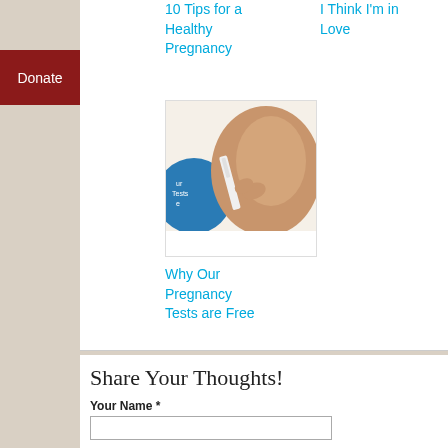10 Tips for a Healthy Pregnancy
I Think I'm in Love
Donate
[Figure (photo): A person holding a pregnancy test in front of a blue circular graphic with text 'Pregnancy Tests']
Why Our Pregnancy Tests are Free
Share Your Thoughts!
Your Name *